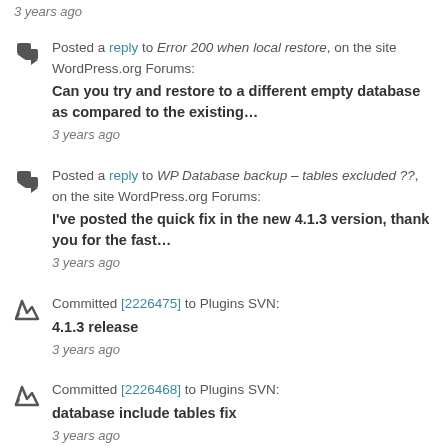3 years ago
Posted a reply to Error 200 when local restore, on the site WordPress.org Forums: Can you try and restore to a different empty database as compared to the existing… 3 years ago
Posted a reply to WP Database backup – tables excluded ??, on the site WordPress.org Forums: I've posted the quick fix in the new 4.1.3 version, thank you for the fast… 3 years ago
Committed [2226475] to Plugins SVN: 4.1.3 release 3 years ago
Committed [2226468] to Plugins SVN: database include tables fix 3 years ago
Posted a reply to How To Restore All Files Within the Same Hosting and Domain, on the site WordPress.org Forums: Can you detail if you do a full backup restore or only the…